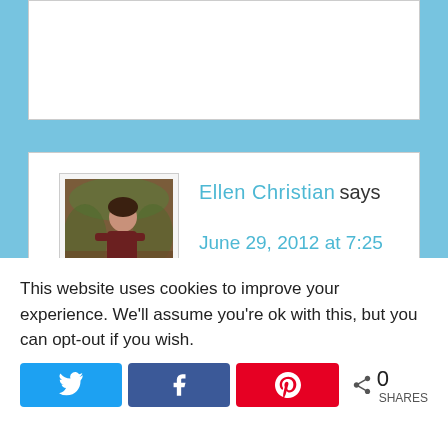[Figure (photo): Partial white comment/form box, cropped at top of page]
Ellen Christian says
June 29, 2012 at 7:25 pm
So cute! Looks like they are off for a fun ride!
This website uses cookies to improve your experience. We'll assume you're ok with this, but you can opt-out if you wish.
0 SHARES